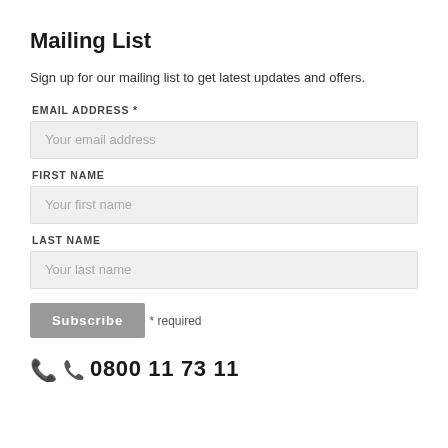Mailing List
Sign up for our mailing list to get latest updates and offers.
EMAIL ADDRESS *
Your email address
FIRST NAME
Your first name
LAST NAME
Your last name
Subscribe
* required
0800 11 73 11